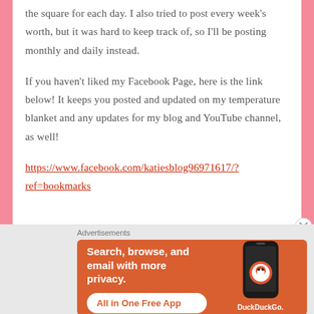the square for each day. I also tried to post every week's worth, but it was hard to keep track of, so I'll be posting monthly and daily instead.
If you haven't liked my Facebook Page, here is the link below! It keeps you posted and updated on my temperature blanket and any updates for my blog and YouTube channel, as well!
https://www.facebook.com/katiesblog96971617/?ref=bookmarks
[Figure (infographic): DuckDuckGo advertisement banner with orange background. Text reads: Search, browse, and email with more privacy. All in One Free App. Shows a smartphone with DuckDuckGo logo.]